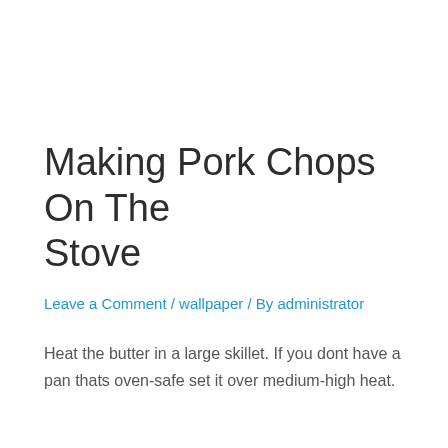Making Pork Chops On The Stove
Leave a Comment / wallpaper / By administrator
Heat the butter in a large skillet. If you dont have a pan thats oven-safe set it over medium-high heat.